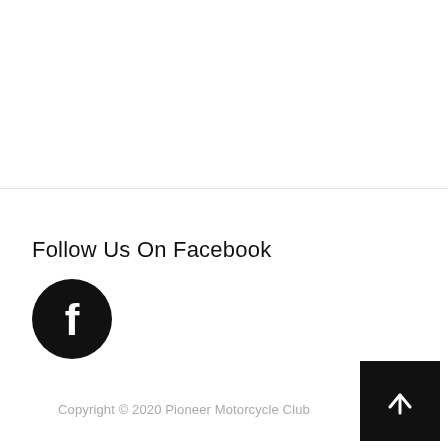Follow Us On Facebook
[Figure (logo): Facebook logo icon — white 'f' on black circle]
Copyright © 2020 Pioneer Motorcycle Club